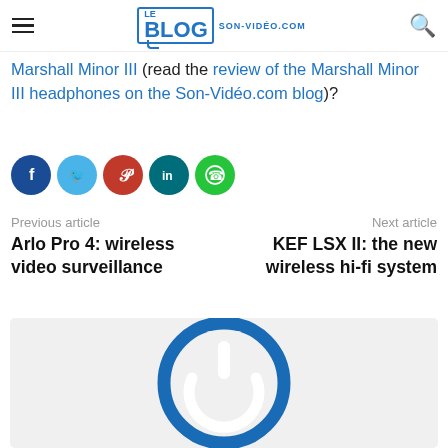Le Blog Son-Vidéo.com
Marshall Minor III (read the review of the Marshall Minor III headphones on the Son-Vidéo.com blog)?
[Figure (infographic): Social sharing icons row: Facebook (dark blue), Twitter (light blue), Pinterest (red), LinkedIn (teal), WhatsApp (green)]
Previous article
Arlo Pro 4: wireless video surveillance
Next article
KEF LSX II: the new wireless hi-fi system
[Figure (logo): Son-Vidéo.com power button logo on light grey background]